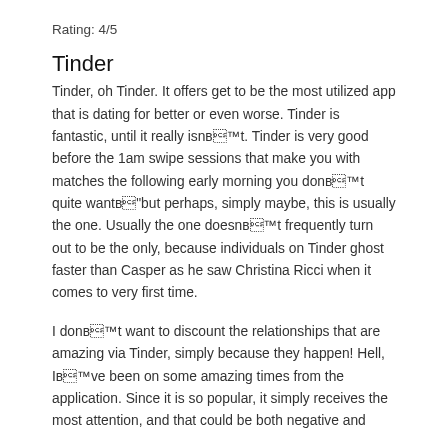Rating: 4/5
Tinder
Tinder, oh Tinder. It offers get to be the most utilized app that is dating for better or even worse. Tinder is fantastic, until it really isnвЂ™t. Tinder is very good before the 1am swipe sessions that make you with matches the following early morning you donвЂ™t quite wantвЂ"but perhaps, simply maybe, this is usually the one. Usually the one doesnвЂ™t frequently turn out to be the only, because individuals on Tinder ghost faster than Casper as he saw Christina Ricci when it comes to very first time.
I donвЂ™t want to discount the relationships that are amazing via Tinder, simply because they happen! Hell, IвЂ™ve been on some amazing times from the application. Since it is so popular, it simply receives the most attention, and that could be both negative and